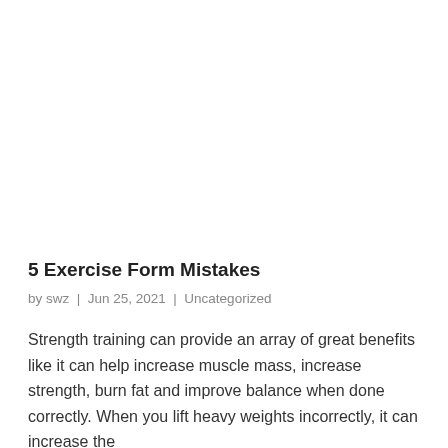5 Exercise Form Mistakes
by swz  |  Jun 25, 2021  |  Uncategorized
Strength training can provide an array of great benefits like it can help increase muscle mass, increase strength, burn fat and improve balance when done correctly. When you lift heavy weights incorrectly, it can increase the